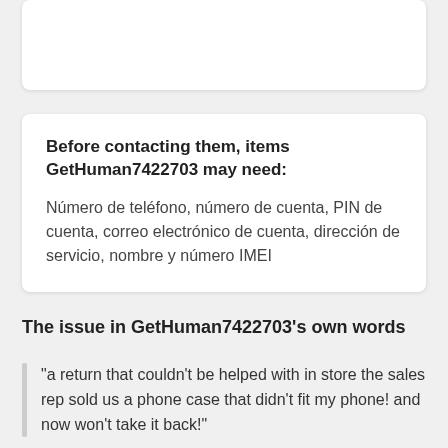Before contacting them, items GetHuman7422703 may need:
Número de teléfono, número de cuenta, PIN de cuenta, correo electrónico de cuenta, dirección de servicio, nombre y número IMEI
The issue in GetHuman7422703's own words
"a return that couldn't be helped with in store the sales rep sold us a phone case that didn't fit my phone! and now won't take it back!"